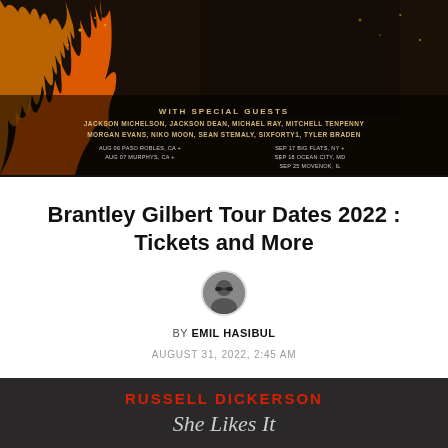[Figure (photo): Concert promotional image for Brantley Gilbert tour with flames and special guests listed. Shows: WITH SPECIAL GUESTS / JACKSON MICHELSON, JACKSON DEAN, MICHAEL RAY, MITCHELL TENPENNY / MORGAN EVANS, NIKO MOON, SEAN STEMALY, SIXFORTY1, TYLER BRADEN / Tour dates including AUG 06 PASO ROBLES CA, AUG 07 MURPHYS CA, SEP 17 BIG FLATS NY, SEP 18 OCEAN CITY MD]
Brantley Gilbert Tour Dates 2022 : Tickets and More
[Figure (photo): Author avatar - small circular profile photo of Emil Hasibul]
BY EMIL HASIBUL
AUGUST 31, 2022, 2:45 AM
[Figure (photo): Russell Dickerson She Likes It Tour promotional image showing artist with guitar and large red TOUR text]